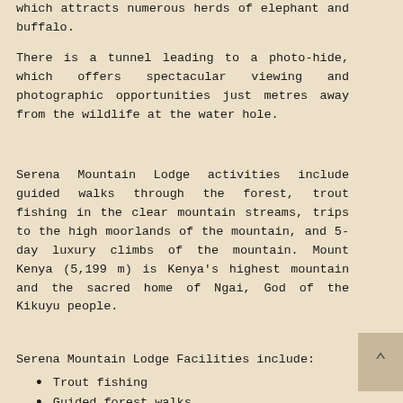which attracts numerous herds of elephant and buffalo.
There is a tunnel leading to a photo-hide, which offers spectacular viewing and photographic opportunities just metres away from the wildlife at the water hole.
Serena Mountain Lodge activities include guided walks through the forest, trout fishing in the clear mountain streams, trips to the high moorlands of the mountain, and 5-day luxury climbs of the mountain. Mount Kenya (5,199 m) is Kenya's highest mountain and the sacred home of Ngai, God of the Kikuyu people.
Serena Mountain Lodge Facilities include:
Trout fishing
Guided forest walks